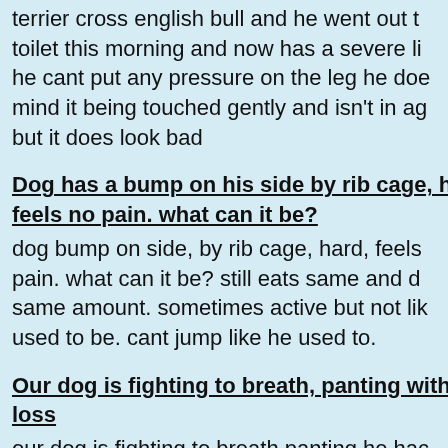terrier cross english bull and he went out to toilet this morning and now has a severe li he cant put any pressure on the leg he doe mind it being touched gently and isn't in ag but it does look bad
Dog has a bump on his side by rib cage, ha feels no pain. what can it be?
dog bump on side, by rib cage, hard, feels pain. what can it be? still eats same and d same amount. sometimes active but not lik used to be. cant jump like he used to.
Our dog is fighting to breath, panting with w loss
our dog is fighting to breath,panting,he hac rapid weight loss,gums are grayish ,very weak,falls if he gets in too big hurry,just t